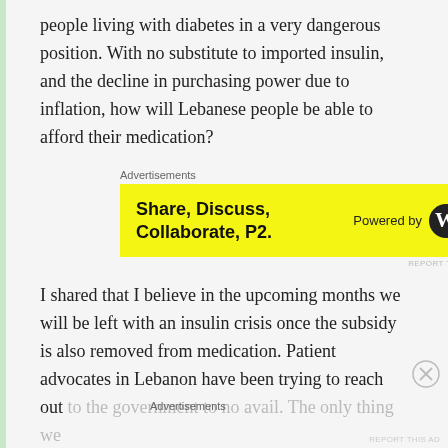people living with diabetes in a very dangerous position. With no substitute to imported insulin, and the decline in purchasing power due to inflation, how will Lebanese people be able to afford their medication?
Advertisements
[Figure (screenshot): Yellow advertisement banner reading 'Share, Discuss, Collaborate, P2.' with 'Powered by' and WordPress logo on the right]
REPORT THIS AD
I shared that I believe in the upcoming months we will be left with an insulin crisis once the subsidy is also removed from medication. Patient advocates in Lebanon have been trying to reach out to the government to no avail. The only thing we
Advertisements
REPORT THIS AD